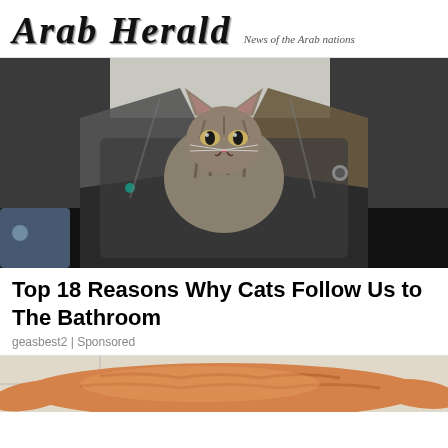Arab Herald — News of the Arab nations
[Figure (photo): A tabby cat sitting inside a dark bag or luggage, being held open by a person's legs wearing dark pants and black shoes, on a light-colored tiled floor.]
Top 18 Reasons Why Cats Follow Us to The Bathroom
geasbest2 | Sponsored
[Figure (photo): An orange/ginger tabby cat photographed from above, lying or stretching on a light surface.]